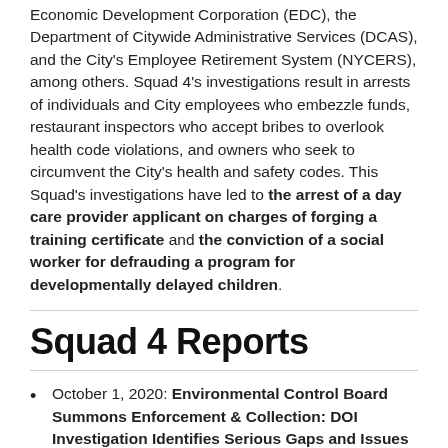Economic Development Corporation (EDC), the Department of Citywide Administrative Services (DCAS), and the City's Employee Retirement System (NYCERS), among others. Squad 4's investigations result in arrests of individuals and City employees who embezzle funds, restaurant inspectors who accept bribes to overlook health code violations, and owners who seek to circumvent the City's health and safety codes. This Squad's investigations have led to the arrest of a day care provider applicant on charges of forging a training certificate and the conviction of a social worker for defrauding a program for developmentally delayed children.
Squad 4 Reports
October 1, 2020: Environmental Control Board Summons Enforcement & Collection: DOI Investigation Identifies Serious Gaps and Issues